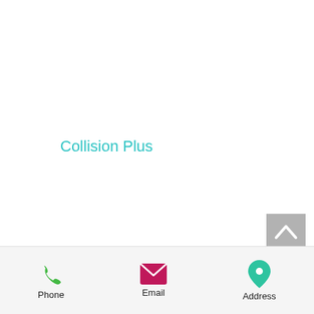Collision Plus
[Figure (illustration): Back to top button - grey square with white upward chevron/caret arrow]
[Figure (infographic): Bottom navigation bar with three items: Phone (green phone icon), Email (pink/red envelope icon), Address (teal map pin icon)]